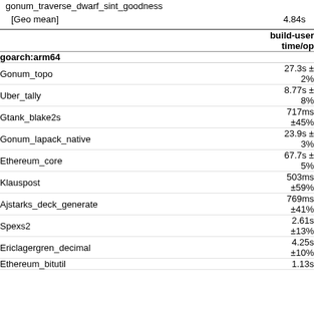gonum_traverse_dwarf_sint_goodness
[Geo mean]  4.84s
|  | build-user time/op |
| --- | --- |
| goarch:arm64 |  |
| Gonum_topo | 27.3s ± 2% |
| Uber_tally | 8.77s ± 8% |
| Gtank_blake2s | 717ms ±45% |
| Gonum_lapack_native | 23.9s ± 3% |
| Ethereum_core | 67.7s ± 5% |
| Klauspost | 503ms ±59% |
| Ajstarks_deck_generate | 769ms ±41% |
| Spexs2 | 2.61s ±13% |
| Ericlagergren_decimal | 4.25s ±10% |
| Ethereum_bitutil | 1.13s |